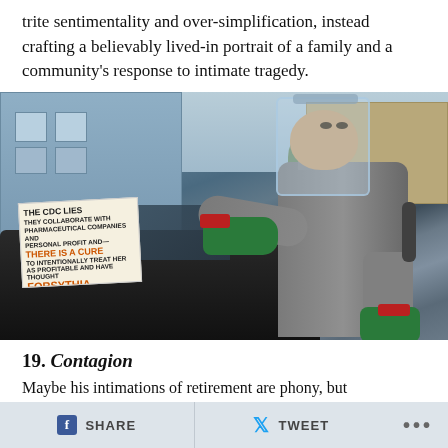trite sentimentality and over-simplification, instead crafting a believably lived-in portrait of a family and a community's response to intimate tragedy.
[Figure (photo): A man in a grey hazmat protective suit with a clear face shield and green rubber gloves removes a flyer/sign from a car windshield. The sign reads 'THE CDC LIES' with orange text 'THERE IS A CURE' and 'FORSYTHIA'. The scene is on a city street with Victorian buildings in the background.]
19. Contagion
Maybe his intimations of retirement are phony, but